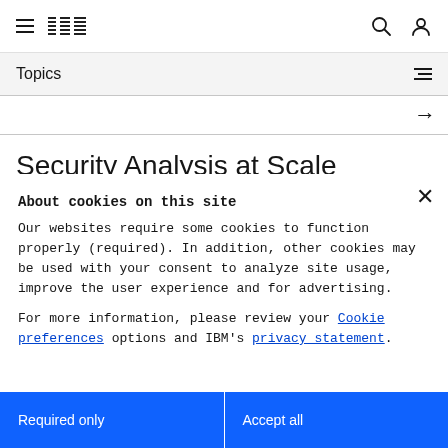IBM navigation bar with hamburger menu, IBM logo, search and user icons
Topics
Security Analysis at Scale
About cookies on this site
Our websites require some cookies to function properly (required). In addition, other cookies may be used with your consent to analyze site usage, improve the user experience and for advertising.

For more information, please review your Cookie preferences options and IBM's privacy statement.
Required only
Accept all